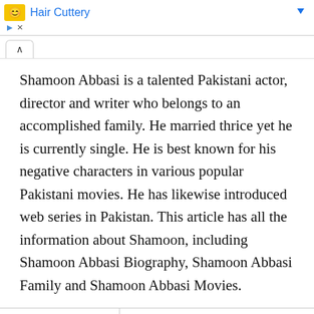Hair Cuttery
Shamoon Abbasi is a talented Pakistani actor, director and writer who belongs to an accomplished family. He married thrice yet he is currently single. He is best known for his negative characters in various popular Pakistani movies. He has likewise introduced web series in Pakistan. This article has all the information about Shamoon, including Shamoon Abbasi Biography, Shamoon Abbasi Family and Shamoon Abbasi Movies.
| Title | Description |
| --- | --- |
| Personal |  |